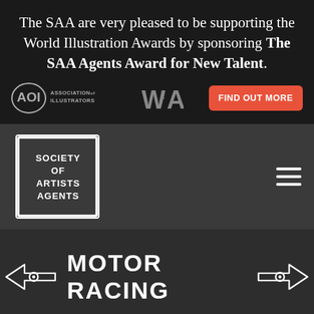The SAA are very pleased to be supporting the World Illustration Awards by sponsoring The SAA Agents Award for New Talent.
[Figure (logo): AOI Association of Illustrators logo, WIA World Illustration Awards logo, and FIND OUT MORE button]
[Figure (logo): Society of Artists Agents logo in white on dark background, with hamburger menu icon]
MOTOR RACING